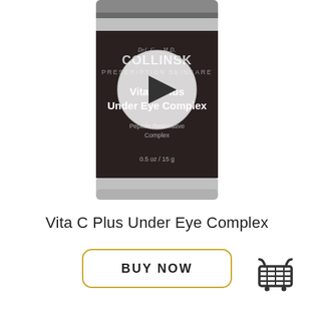[Figure (photo): Product photo of Collins Skin 'Vita C Plus Under Eye Complex' cream jar with dark label, showing product name, Peptide Restorative Complex, 0.5 oz / 15g, with a video play button overlay circle]
Vita C Plus Under Eye Complex
BUY NOW
[Figure (illustration): Shopping cart icon in dark gray/charcoal color, positioned in bottom right corner]